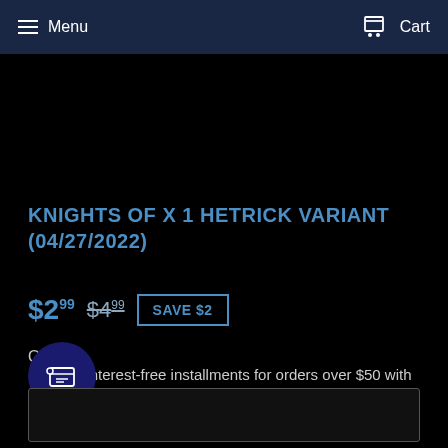Menu  Cart
KNIGHTS OF X 1 HETRICK VARIANT (04/27/2022)
$2.99  $4.99  SAVE $2
Pay in 4 interest-free installments for orders over $50 with shop Pay  Learn more
[Figure (logo): Dark blue circular icon with a ticket/label symbol inside]
Q